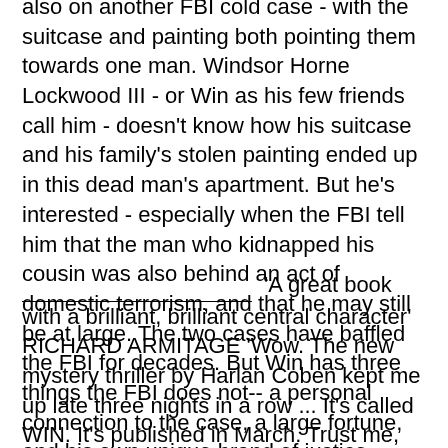also on another FBI cold case - with the suitcase and painting both pointing them towards one man. Windsor Horne Lockwood III - or Win as his few friends call him - doesn't know how his suitcase and his family's stolen painting ended up in this dead man's apartment. But he's interested - especially when the FBI tell him that the man who kidnapped his cousin was also behind an act of domestic terrorism, and that he may still be at large. The two cases have baffled the FBI for decades. But Win has three things the FBI does not-- a personal connection to the case, a large fortune, and his own unique brand of justice ...
'A great book with a brilliant, brilliant central character' RICHARD ARMITAGE 'Wow. The new mystery thriller by Harlan Coben kept me up late three nights in a row ... It's called WIN. It's published in March. Trust me, you will like it.' R.L. STINE 'Coben never, ever lets you down' LEE CHILD 'Harlan Coben is the absolute master of huge twists and turns' RICHARD OSMAN 'Coben is simply one of the all-time greats - pick up any one of his thrillers and you'll find a riveting, twisty, surprising story with a big, beating heart at its core' GILLIAN FLYNN 'One of